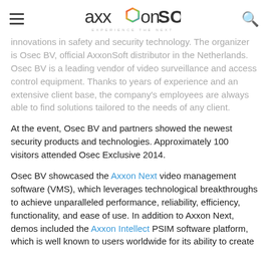AxxonSoft — Experience the Next
innovations in safety and security technology. The organizer is Osec BV, official AxxonSoft distributor in the Netherlands. Osec BV is a leading vendor of video surveillance and access control equipment. Thanks to years of experience and an extensive client base, the company's employees are always able to find solutions tailored to the needs of any client.
At the event, Osec BV and partners showed the newest security products and technologies. Approximately 100 visitors attended Osec Exclusive 2014.
Osec BV showcased the Axxon Next video management software (VMS), which leverages technological breakthroughs to achieve unparalleled performance, reliability, efficiency, functionality, and ease of use. In addition to Axxon Next, demos included the Axxon Intellect PSIM software platform, which is well known to users worldwide for its ability to create